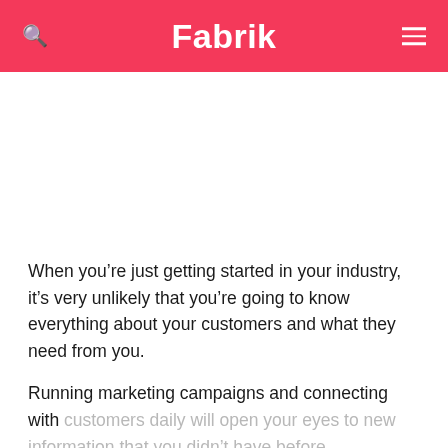Fabrik
When you’re just getting started in your industry, it’s very unlikely that you’re going to know everything about your customers and what they need from you.
Running marketing campaigns and connecting with customers daily will open your eyes to new information that you didn’t have before.